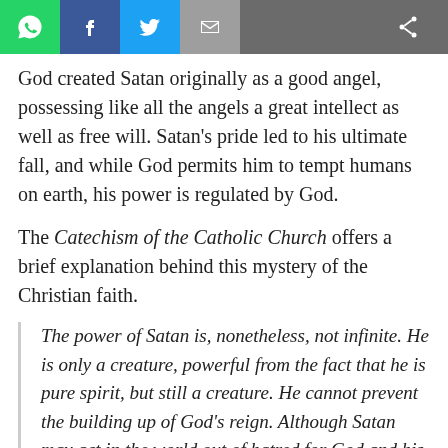Social share bar with WhatsApp, Facebook, Twitter, Email, and Share icons
God created Satan originally as a good angel, possessing like all the angels a great intellect as well as free will. Satan's pride led to his ultimate fall, and while God permits him to tempt humans on earth, his power is regulated by God.
The Catechism of the Catholic Church offers a brief explanation behind this mystery of the Christian faith.
The power of Satan is, nonetheless, not infinite. He is only a creature, powerful from the fact that he is pure spirit, but still a creature. He cannot prevent the building up of God's reign. Although Satan may act in the world out of hatred for God and his kingdom in Christ Jesus, and although his action may cause grave